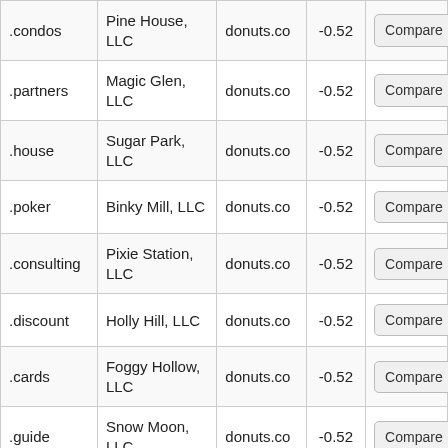| .condos | Pine House, LLC | donuts.co | -0.52 | Compare |
| .partners | Magic Glen, LLC | donuts.co | -0.52 | Compare |
| .house | Sugar Park, LLC | donuts.co | -0.52 | Compare |
| .poker | Binky Mill, LLC | donuts.co | -0.52 | Compare |
| .consulting | Pixie Station, LLC | donuts.co | -0.52 | Compare |
| .discount | Holly Hill, LLC | donuts.co | -0.52 | Compare |
| .cards | Foggy Hollow, LLC | donuts.co | -0.52 | Compare |
| .guide | Snow Moon, LLC | donuts.co | -0.52 | Compare |
| .contractors | Magic... | donuts.co | -0.52 | Compare |